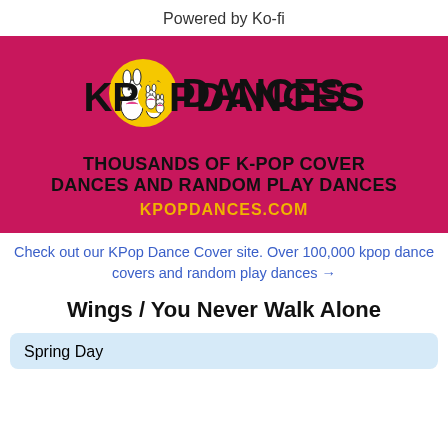Powered by Ko-fi
[Figure (logo): KPopDances logo banner with pink/magenta background, cartoon rabbit mascots, logo text 'KPOPDANCES', tagline 'THOUSANDS OF K-POP COVER DANCES AND RANDOM PLAY DANCES', and URL 'KPOPDANCES.COM' in yellow]
Check out our KPop Dance Cover site. Over 100,000 kpop dance covers and random play dances →
Wings / You Never Walk Alone
Spring Day